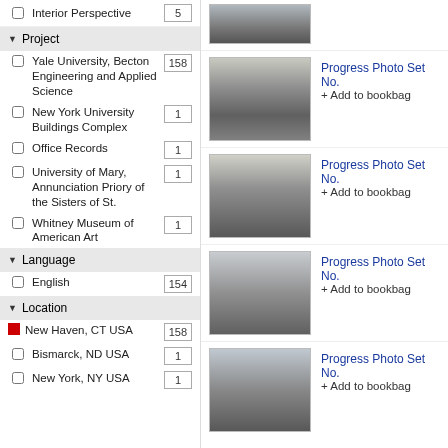Interior Perspective  5
Project
Yale University, Becton Engineering and Applied Science  158
New York University Buildings Complex  1
Office Records  1
University of Mary, Annunciation Priory of the Sisters of St.  1
Whitney Museum of American Art  1
Language
English  154
Location
New Haven, CT USA  158
Bismarck, ND USA  1
New York, NY USA  1
[Figure (photo): Black and white construction progress photo showing excavation site]
Progress Photo Set No.
+ Add to bookbag
[Figure (photo): Black and white construction progress photo showing building framework]
Progress Photo Set No.
+ Add to bookbag
[Figure (photo): Black and white construction progress photo showing site overview with crane]
Progress Photo Set No.
+ Add to bookbag
[Figure (photo): Black and white construction progress photo showing site with crane and structures]
Progress Photo Set No.
+ Add to bookbag